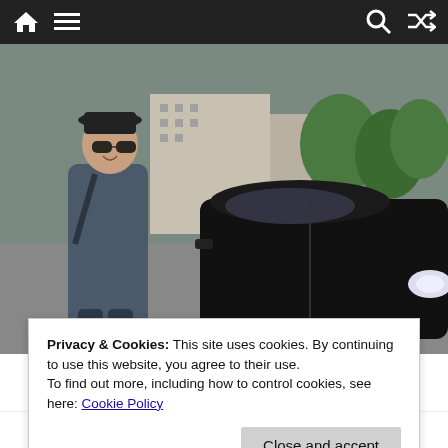Navigation bar with home, menu, search, and shuffle icons
[Figure (photo): A man wearing sunglasses and a dark flat-cap hat, dressed in a gray long coat, standing next to a black Audi car on a city street. Trees and buildings visible in background.]
Privacy & Cookies: This site uses cookies. By continuing to use this website, you agree to their use.
To find out more, including how to control cookies, see here: Cookie Policy
A full time hard core professional and an avid